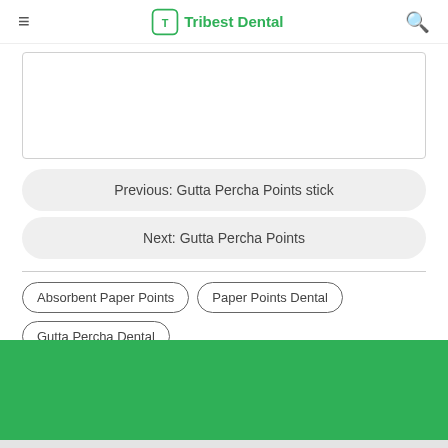≡  Tribest Dental  🔍
[Figure (other): White content box with border, partially visible, representing a product image or embedded content area]
Previous:  Gutta Percha Points stick
Next:  Gutta Percha Points
Absorbent Paper Points
Paper Points Dental
Gutta Percha Dental